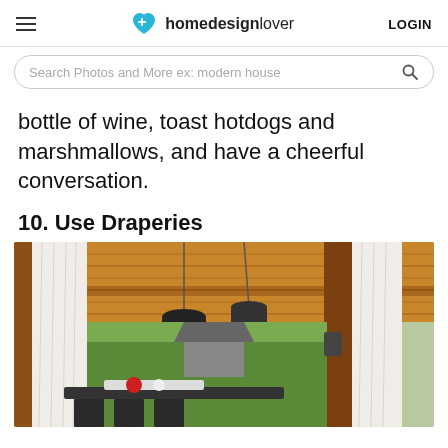homedesignlover | LOGIN
Search Photos and More ex: modern house
bottle of wine, toast hotdogs and marshmallows, and have a cheerful conversation.
10. Use Draperies
[Figure (photo): Outdoor covered patio/pergola with wood plank ceiling, hanging black cylindrical pendant lights, white sheer drapery curtains on wooden posts, outdoor dining furniture, and lush green garden in background.]